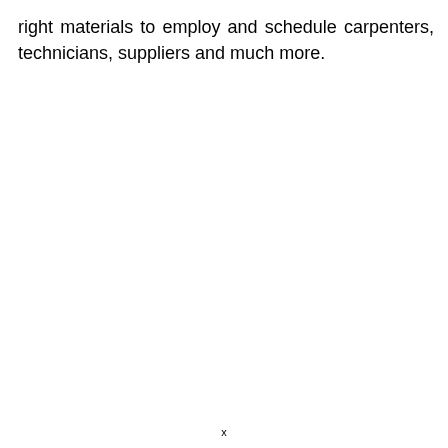right materials to employ and schedule carpenters, technicians, suppliers and much more.
x